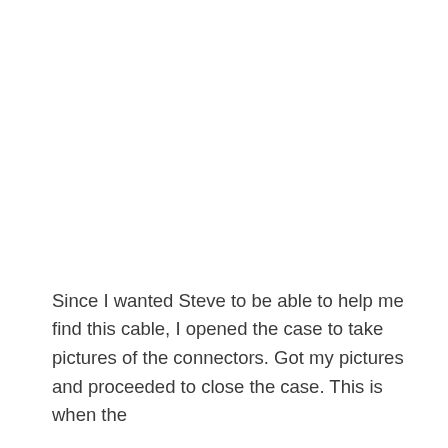Since I wanted Steve to be able to help me find this cable, I opened the case to take pictures of the connectors. Got my pictures and proceeded to close the case. This is when the